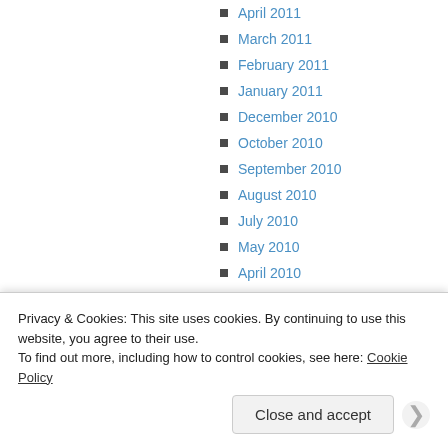April 2011
March 2011
February 2011
January 2011
December 2010
October 2010
September 2010
August 2010
July 2010
May 2010
April 2010
March 2010
February 2010
Privacy & Cookies: This site uses cookies. By continuing to use this website, you agree to their use. To find out more, including how to control cookies, see here: Cookie Policy
Close and accept